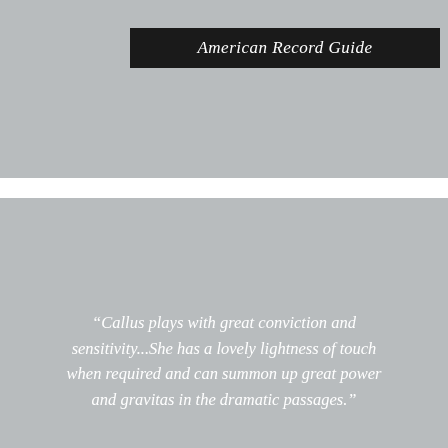[Figure (other): Gray rectangular image block at top of page]
American Record Guide
[Figure (other): Gray rectangular image block at bottom of page]
“Callus plays with great conviction and sensitivity...She has a lovely lightness of touch when required and can summon up great power and gravitas in the dramatic passages.”